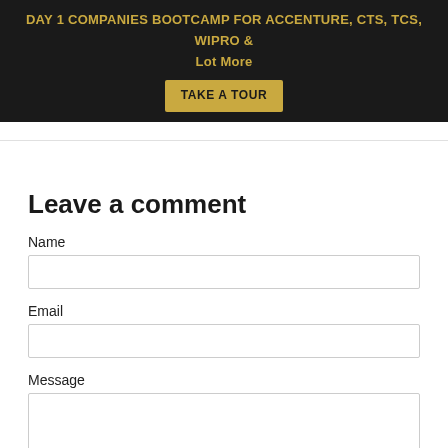DAY 1 COMPANIES BOOTCAMP FOR ACCENTURE, CTS, TCS, WIPRO & Lot More  TAKE A TOUR
Leave a comment
Name
Email
Message
Please note, comments must be approved before they are published.